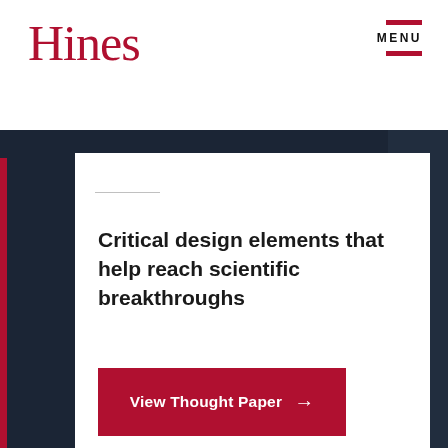Hines
MENU
Critical design elements that help reach scientific breakthroughs
View Thought Paper →
Insights & Resources